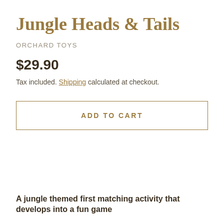Jungle Heads & Tails
ORCHARD TOYS
$29.90
Tax included. Shipping calculated at checkout.
ADD TO CART
A jungle themed first matching activity that develops into a fun game